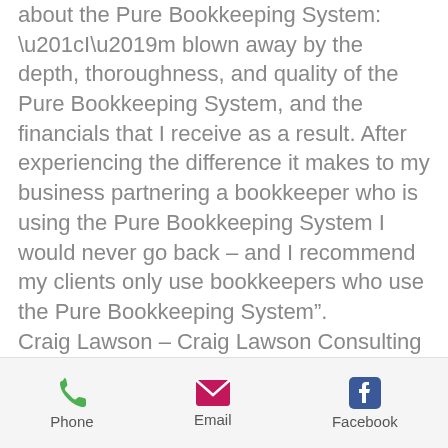about the Pure Bookkeeping System: “I’m blown away by the depth, thoroughness, and quality of the Pure Bookkeeping System, and the financials that I receive as a result. After experiencing the difference it makes to my business partnering a bookkeeper who is using the Pure Bookkeeping System I would never go back – and I recommend my clients only use bookkeepers who use the Pure Bookkeeping System”. Craig Lawson – Craig Lawson Consulting
Phone | Email | Facebook